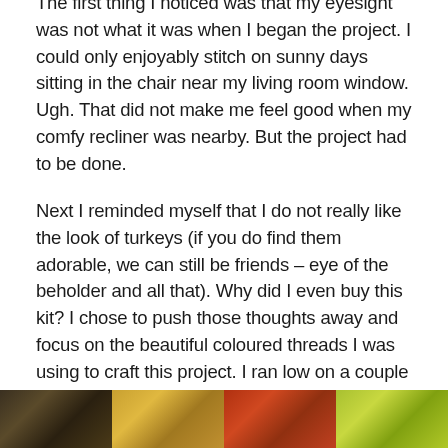The first thing I noticed was that my eyesight was not what it was when I began the project. I could only enjoyably stitch on sunny days sitting in the chair near my living room window. Ugh. That did not make me feel good when my comfy recliner was nearby. But the project had to be done.
Next I reminded myself that I do not really like the look of turkeys (if you do find them adorable, we can still be friends – eye of the beholder and all that). Why did I even buy this kit? I chose to push those thoughts away and focus on the beautiful coloured threads I was using to craft this project. I ran low on a couple of the colours, but in my vast stash of all things crafty I found suitable substitutes. I was NOT going to spend any more money on craft supplies!!
[Figure (photo): A horizontal strip of colourful threads/yarn showing segments of dark brown, golden yellow, orange-red, and yellow-green colours.]